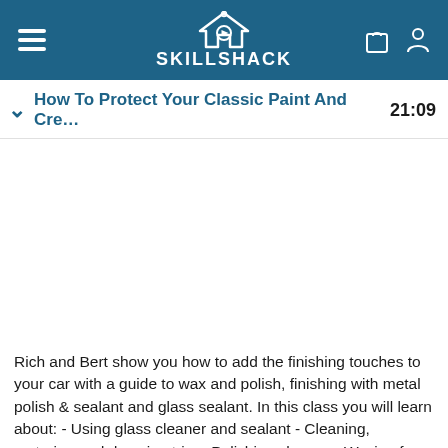SKILL SHACK
How To Protect Your Classic Paint And Cre… 21:09
[Figure (screenshot): White blank video player area]
Rich and Bert show you how to add the finishing touches to your car with a guide to wax and polish, finishing with metal polish & sealant and glass sealant. In this class you will learn about: - Using glass cleaner and sealant - Cleaning, restoring and dressing trim - Polishing chrome - Waxing for a pristine finish.